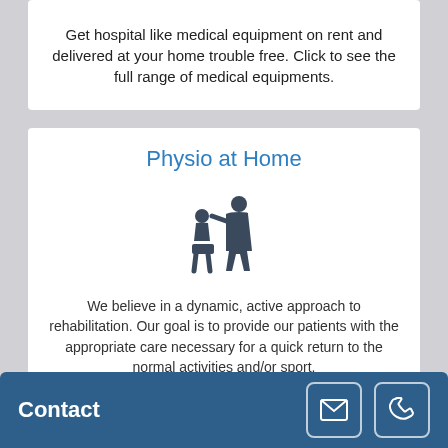Get hospital like medical equipment on rent and delivered at your home trouble free. Click to see the full range of medical equipments.
Physio at Home
[Figure (illustration): Icon of a physiotherapist treating a seated patient]
We believe in a dynamic, active approach to rehabilitation. Our goal is to provide our patients with the appropriate care necessary for a quick return to the normal activities and/or sport.
Contact